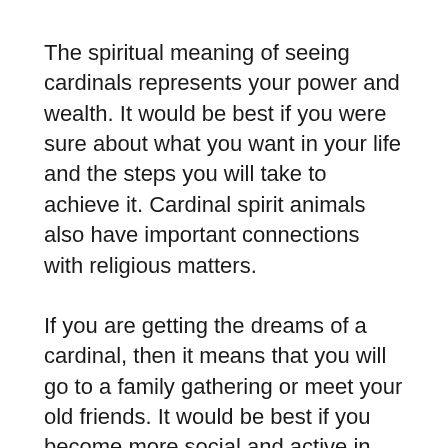The spiritual meaning of seeing cardinals represents your power and wealth. It would be best if you were sure about what you want in your life and the steps you will take to achieve it. Cardinal spirit animals also have important connections with religious matters.
If you are getting the dreams of a cardinal, then it means that you will go to a family gathering or meet your old friends. It would be best if you become more social and active in your society then you usually are.